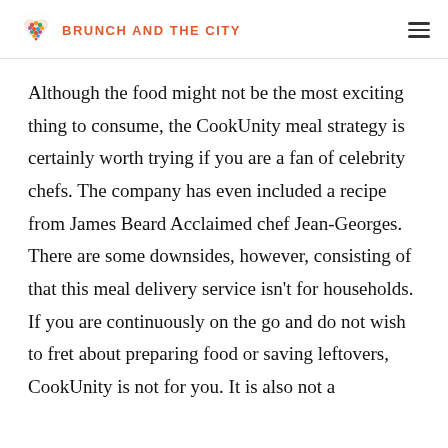BRUNCH AND THE CITY
Although the food might not be the most exciting thing to consume, the CookUnity meal strategy is certainly worth trying if you are a fan of celebrity chefs. The company has even included a recipe from James Beard Acclaimed chef Jean-Georges. There are some downsides, however, consisting of that this meal delivery service isn't for households. If you are continuously on the go and do not wish to fret about preparing food or saving leftovers, CookUnity is not for you. It is also not a